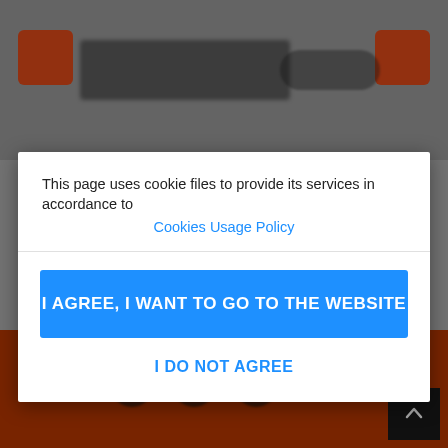[Figure (screenshot): Blurred website background with gray top navigation bar containing orange squares, dark logo blobs, and icon elements. Bottom section shows orange/red background with dark circular icons. A dark 'back to top' button is in the bottom right corner.]
This page uses cookie files to provide its services in accordance to
Cookies Usage Policy
I AGREE, I WANT TO GO TO THE WEBSITE
I DO NOT AGREE